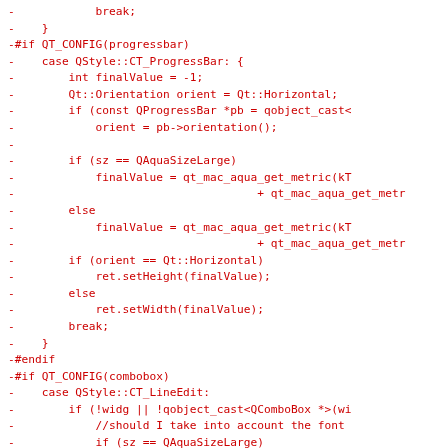Diff/patch code block showing removed lines of C++ Qt source code for QStyle::CT_ProgressBar and QStyle::CT_LineEdit cases